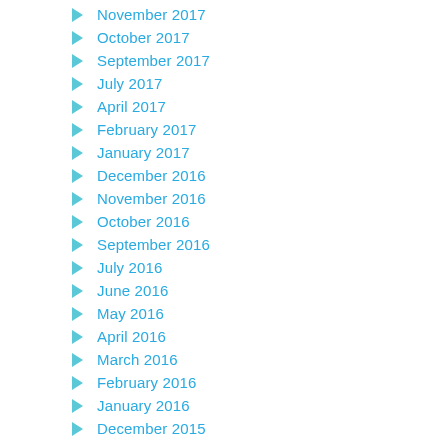November 2017
October 2017
September 2017
July 2017
April 2017
February 2017
January 2017
December 2016
November 2016
October 2016
September 2016
July 2016
June 2016
May 2016
April 2016
March 2016
February 2016
January 2016
December 2015